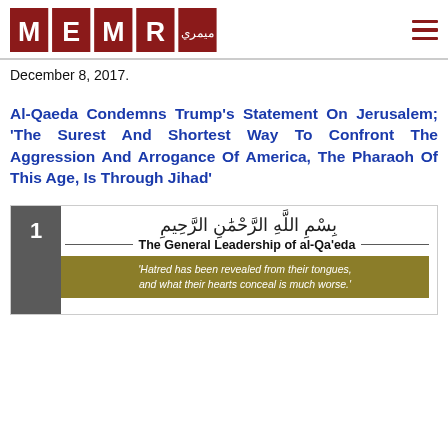MEMRI logo and navigation
December 8, 2017.
Al-Qaeda Condemns Trump's Statement On Jerusalem; 'The Surest And Shortest Way To Confront The Aggression And Arrogance Of America, The Pharaoh Of This Age, Is Through Jihad'
[Figure (screenshot): Document page numbered 1 from The General Leadership of al-Qa'eda with Arabic bismillah text and a banner reading: 'Hatred has been revealed from their tongues, and what their hearts conceal is much worse.']